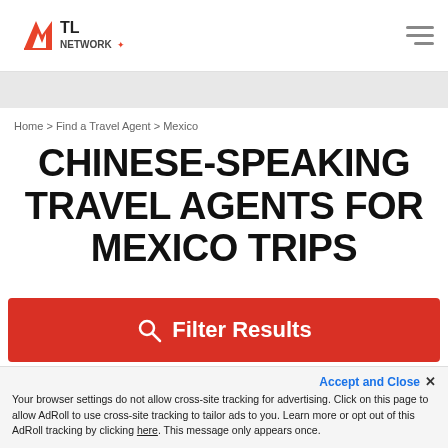TL NETWORK [logo] [hamburger menu]
Home > Find a Travel Agent > Mexico
CHINESE-SPEAKING TRAVEL AGENTS FOR MEXICO TRIPS
Filter Results
Accept and Close ✕ Your browser settings do not allow cross-site tracking for advertising. Click on this page to allow AdRoll to use cross-site tracking to tailor ads to you. Learn more or opt out of this AdRoll tracking by clicking here. This message only appears once.